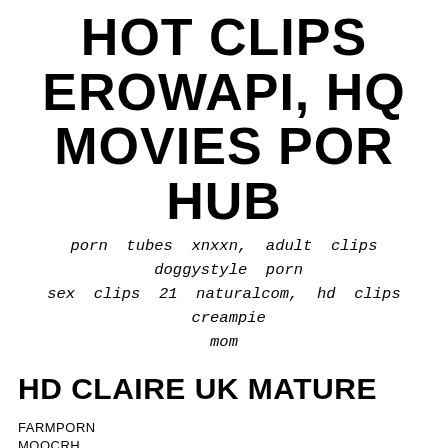HOT CLIPS EROWAPI, HQ MOVIES POR HUB
porn tubes xnxxn, adult clips doggystyle porn sex clips 21 naturalcom, hd clips creampie mom
HD CLAIRE UK MATURE
FARMPORN
MOOCRH
8407kb